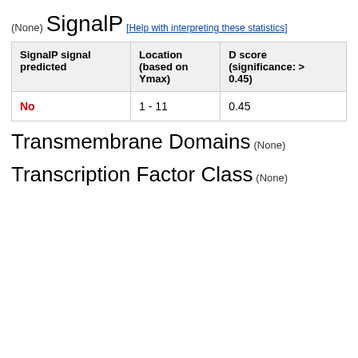(None)
SignalP
[Help with interpreting these statistics]
| SignalP signal predicted | Location (based on Ymax) | D score (significance: > 0.45) |
| --- | --- | --- |
| No | 1 - 11 | 0.45 |
Transmembrane Domains
(None)
Transcription Factor Class
(None)